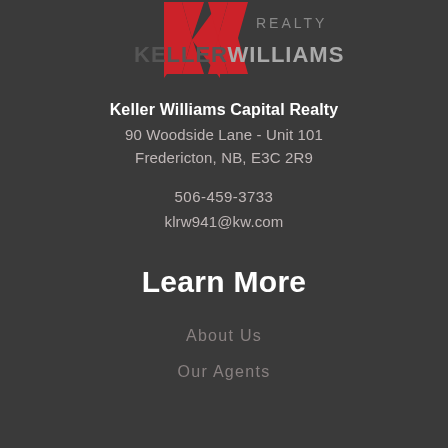[Figure (logo): Keller Williams Realty logo with red KW mark and gray KELLERWILLIAMS. wordmark]
Keller Williams Capital Realty
90 Woodside Lane - Unit 101
Fredericton, NB, E3C 2R9
506-459-3733
klrw941@kw.com
Learn More
About Us
Our Agents